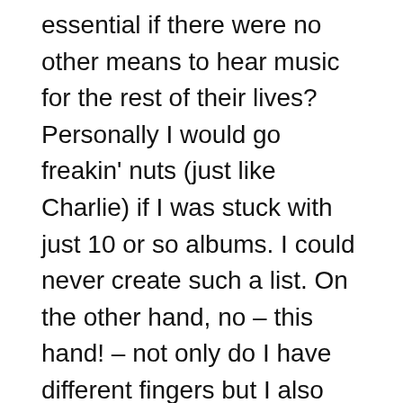essential if there were no other means to hear music for the rest of their lives? Personally I would go freakin' nuts (just like Charlie) if I was stuck with just 10 or so albums. I could never create such a list. On the other hand, no – this hand! – not only do I have different fingers but I also would discover that I had access to other music. If I had a radio I could hear plenty of music unless the only stations I could hear on the island were reactionary talkers or religious hucksters. But having a radio would not satisfy me since most of the music I like is not heard on the radio. Of course you could make your own music. But that is a non-starter, since there would be no need for any list if you were satisfied with your own music